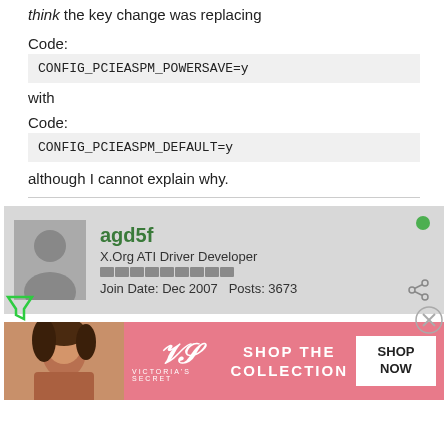think the key change was replacing
Code:
with
Code:
although I cannot explain why.
agd5f
X.Org ATI Driver Developer
Join Date: Dec 2007  Posts: 3673
[Figure (photo): Advertisement banner for Victoria's Secret showing a woman and shop the collection button]